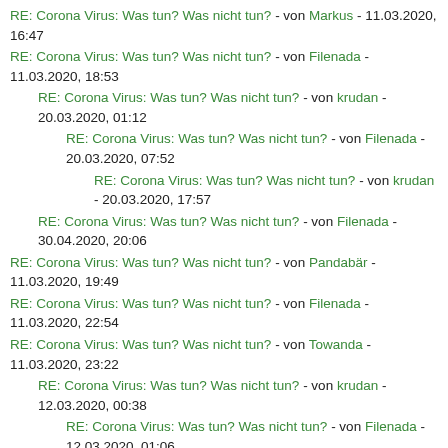RE: Corona Virus: Was tun? Was nicht tun? - von Markus - 11.03.2020, 16:47
RE: Corona Virus: Was tun? Was nicht tun? - von Filenada - 11.03.2020, 18:53
RE: Corona Virus: Was tun? Was nicht tun? - von krudan - 20.03.2020, 01:12
RE: Corona Virus: Was tun? Was nicht tun? - von Filenada - 20.03.2020, 07:52
RE: Corona Virus: Was tun? Was nicht tun? - von krudan - 20.03.2020, 17:57
RE: Corona Virus: Was tun? Was nicht tun? - von Filenada - 30.04.2020, 20:06
RE: Corona Virus: Was tun? Was nicht tun? - von Pandabär - 11.03.2020, 19:49
RE: Corona Virus: Was tun? Was nicht tun? - von Filenada - 11.03.2020, 22:54
RE: Corona Virus: Was tun? Was nicht tun? - von Towanda - 11.03.2020, 23:22
RE: Corona Virus: Was tun? Was nicht tun? - von krudan - 12.03.2020, 00:38
RE: Corona Virus: Was tun? Was nicht tun? - von Filenada - 12.03.2020, 01:06
RE: Corona Virus: Was tun? Was nicht tun? - von Markus - 12.03.2020,